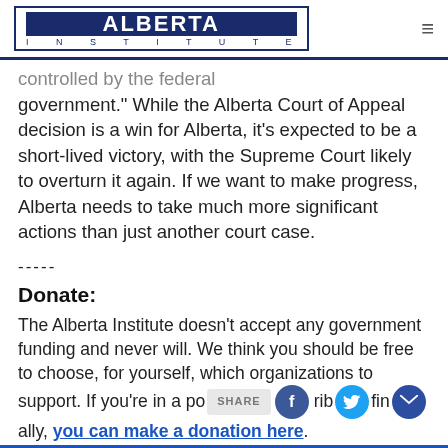ALBERTA INSTITUTE
controlled by the federal government.” While the Alberta Court of Appeal decision is a win for Alberta, it’s expected to be a short-lived victory, with the Supreme Court likely to overturn it again. If we want to make progress, Alberta needs to take much more significant actions than just another court case.
-----
Donate:
The Alberta Institute doesn't accept any government funding and never will. We think you should be free to choose, for yourself, which organizations to support. If you’re in a position to contribute financially, you can make a donation here.